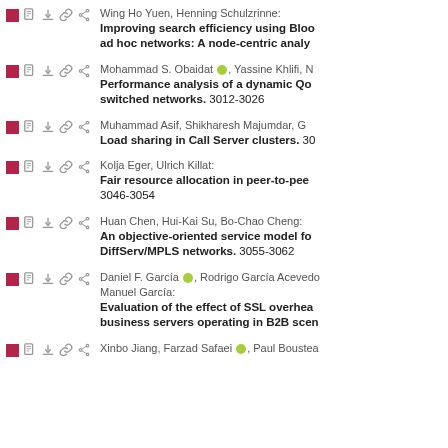Wing Ho Yuen, Henning Schulzrinne: Improving search efficiency using Bloom filters in wireless ad hoc networks: A node-centric analysis.
Mohammad S. Obaidat, Yassine Khlifi, N: Performance analysis of a dynamic QoS in switched networks. 3012-3026
Muhammad Asif, Shikharesh Majumdar, G: Load sharing in Call Server clusters. 30
Kolja Eger, Ulrich Killat: Fair resource allocation in peer-to-peer networks. 3046-3054
Huan Chen, Hui-Kai Su, Bo-Chao Cheng: An objective-oriented service model for DiffServ/MPLS networks. 3055-3062
Daniel F. García, Rodrigo García Acevedo, Manuel García: Evaluation of the effect of SSL overhead on business servers operating in B2B scenarios.
Xinbo Jiang, Farzad Safaei, Paul Boustea...